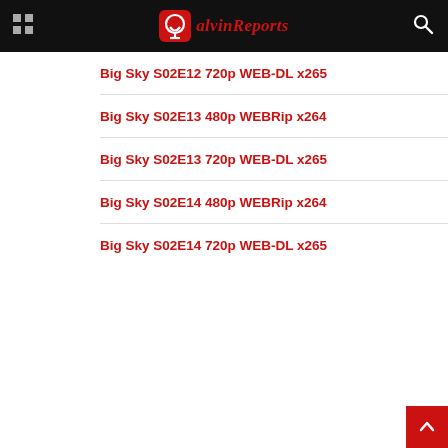AlvinReports
Big Sky S02E12 720p WEB-DL x265
Big Sky S02E13 480p WEBRip x264
Big Sky S02E13 720p WEB-DL x265
Big Sky S02E14 480p WEBRip x264
Big Sky S02E14 720p WEB-DL x265